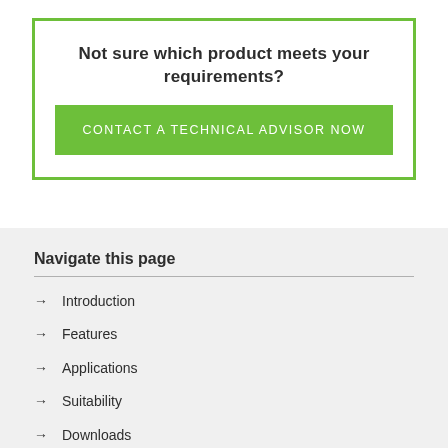Not sure which product meets your requirements?
CONTACT A TECHNICAL ADVISOR NOW
Navigate this page
→ Introduction
→ Features
→ Applications
→ Suitability
→ Downloads